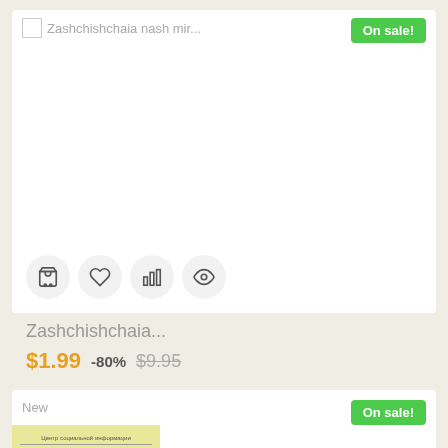[Figure (screenshot): Product card 1 with broken image placeholder, 'New' label, title 'Zashchishchaia nash mir...', 'On sale!' button, action icons (cart, heart, chart, eye), price $1.99 with -80% discount from $9.95]
Zashchishchaia...
$1.99  -80%  $9.95
[Figure (screenshot): Product card 2 with 'New' label, 'On sale!' button, book cover with yellow background showing Russian text about military-industrial complex development to 2006, scroll-up orange button]